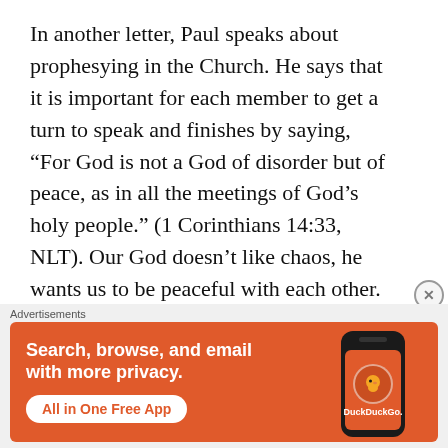In another letter, Paul speaks about prophesying in the Church. He says that it is important for each member to get a turn to speak and finishes by saying, “For God is not a God of disorder but of peace, as in all the meetings of God’s holy people.” (1 Corinthians 14:33, NLT). Our God doesn’t like chaos, he wants us to be peaceful with each other.
I realize that theological disputes will always
[Figure (other): DuckDuckGo advertisement banner: orange background with text 'Search, browse, and email with more privacy. All in One Free App' and DuckDuckGo logo on a phone mockup]